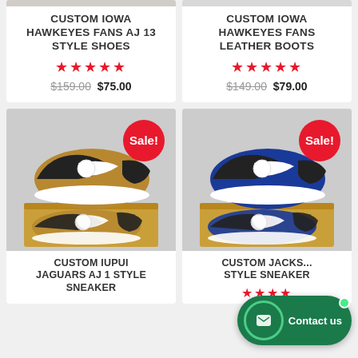CUSTOM IOWA HAWKEYES FANS AJ 13 STYLE SHOES
★★★★★ $159.00 $75.00
CUSTOM IOWA HAWKEYES FANS LEATHER BOOTS
★★★★★ $149.00 $79.00
[Figure (photo): Custom IUPUI Jaguars AJ1 style sneaker product image with Sale badge]
CUSTOM IUPUI JAGUARS AJ 1 STYLE SNEAKER
[Figure (photo): Custom Jackson State style sneaker product image with Sale badge]
CUSTOM JACKS... STYLE SNEAKER
★★★★